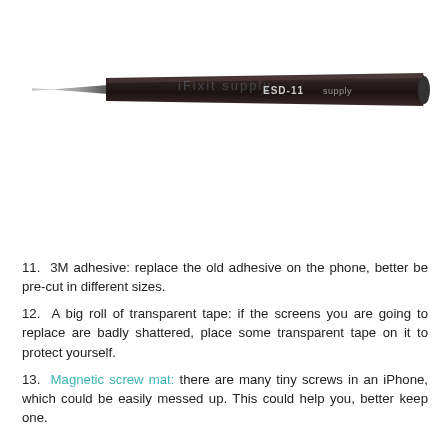[Figure (photo): A long thin black ESD-11 anti-static precision tweezer tool photographed against a white background. The tweezer has a dark handle with 'ESD-11' and other branding text printed on it, and tapers to a very fine point at the left end.]
11. 3M adhesive: replace the old adhesive on the phone, better be pre-cut in different sizes.
12. A big roll of transparent tape: if the screens you are going to replace are badly shattered, place some transparent tape on it to protect yourself.
13. Magnetic screw mat: there are many tiny screws in an iPhone, which could be easily messed up. This could help you, better keep one.